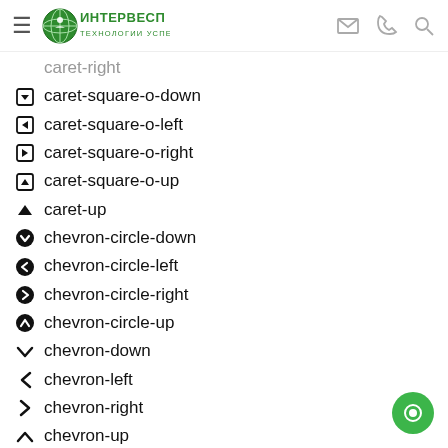ИНТЕРВЕСП - ТЕХНОЛОГИИ УСПЕХА (logo with navigation icons)
caret-right (partial, cut off)
caret-square-o-down
caret-square-o-left
caret-square-o-right
caret-square-o-up
caret-up
chevron-circle-down
chevron-circle-left
chevron-circle-right
chevron-circle-up
chevron-down
chevron-left
chevron-right
chevron-up
hand-o-down
hand-o-left